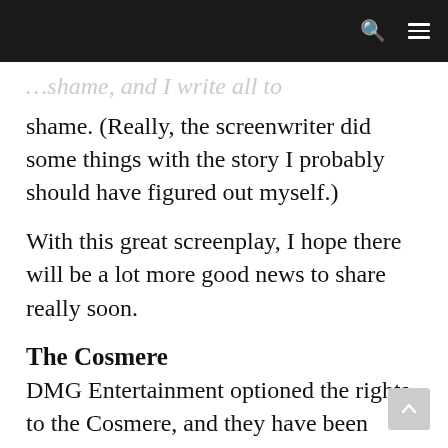[navigation bar with search and menu icons]
shame. (Really, the screenwriter did some things with the story I probably should have figured out myself.)
With this great screenplay, I hope there will be a lot more good news to share really soon.
The Cosmere
DMG Entertainment optioned the rights to the Cosmere, and they have been wonderful to work with. They commissioned screenplays for The Emperor's Soul, Mistborn, and The Way of Kings. They're currently in Step Three above,